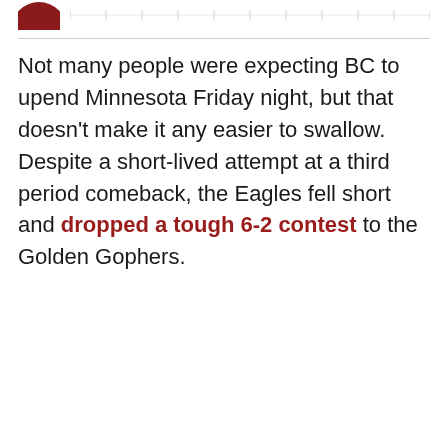[Figure (logo): Partial red circular logo in top-left corner]
Not many people were expecting BC to upend Minnesota Friday night, but that doesn't make it any easier to swallow. Despite a short-lived attempt at a third period comeback, the Eagles fell short and dropped a tough 6-2 contest to the Golden Gophers.